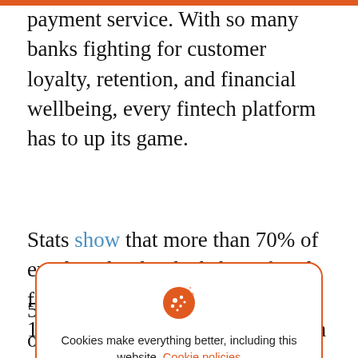payment service. With so many banks fighting for customer loyalty, retention, and financial wellbeing, every fintech platform has to up its game.
Stats show that more than 70% of employed individuals have faced financial stress over the previous 12 months and would benefit from
[Figure (other): Cookie consent modal with orange border, cookie icon, text 'Cookies make everything better, including this website. Cookie policies' and an orange 'GO COOKIES' button.]
5% had used an On-Demand Pay offering in the